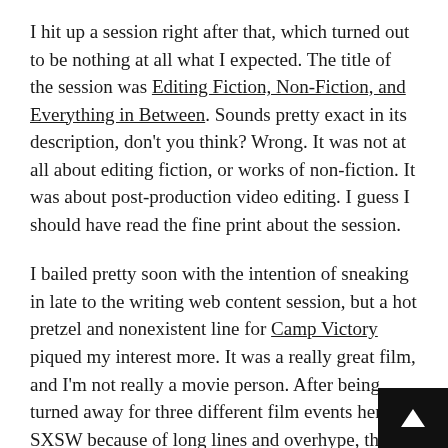I hit up a session right after that, which turned out to be nothing at all what I expected. The title of the session was Editing Fiction, Non-Fiction, and Everything in Between. Sounds pretty exact in its description, don't you think? Wrong. It was not at all about editing fiction, or works of non-fiction. It was about post-production video editing. I guess I should have read the fine print about the session.
I bailed pretty soon with the intention of sneaking in late to the writing web content session, but a hot pretzel and nonexistent line for Camp Victory piqued my interest more. It was a really great film, and I'm not really a movie person. After being turned away for three different film events here at SXSW because of long lines and overhype, this was a breath of fresh air.
I did my duty and shmoozed with the people I neede